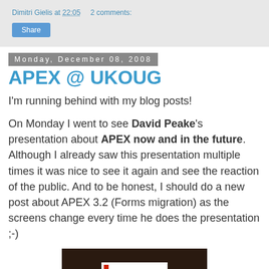Dimitri Gielis at 22:05    2 comments:
Share
Monday, December 08, 2008
APEX @ UKOUG
I'm running behind with my blog posts!
On Monday I went to see David Peake's presentation about APEX now and in the future. Although I already saw this presentation multiple times it was nice to see it again and see the reaction of the public. And to be honest, I should do a new post about APEX 3.2 (Forms migration) as the screens change every time he does the presentation ;-)
[Figure (photo): Photo of a presentation screen showing Oracle APEX Typical Use Examples slide in a dark room]